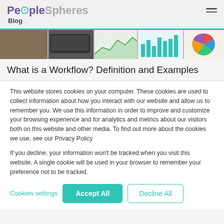PeopleSpheres Blog
[Figure (photo): Hero image strip showing business/analytics imagery including hands on keyboard, charts, and a pie chart]
What is a Workflow? Definition and Examples
This website stores cookies on your computer. These cookies are used to collect information about how you interact with our website and allow us to remember you. We use this information in order to improve and customize your browsing experience and for analytics and metrics about our visitors both on this website and other media. To find out more about the cookies we use, see our Privacy Policy
If you decline, your information won't be tracked when you visit this website. A single cookie will be used in your browser to remember your preference not to be tracked.
Cookies settings   Accept All   Decline All